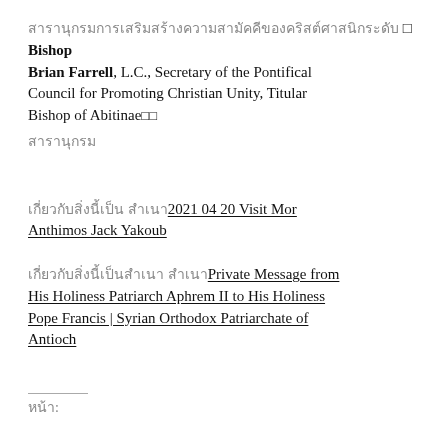[Thai characters] Bishop Brian Farrell, L.C., Secretary of the Pontifical Council for Promoting Christian Unity, Titular Bishop of Abitinae [Thai characters]
[Thai characters]
[Thai characters] 2021 04 20 Visit Mor Anthimos Jack Yakoub
[Thai characters] Private Message from His Holiness Patriarch Aphrem II to His Holiness Pope Francis | Syrian Orthodox Patriarchate of Antioch
[Thai characters]: